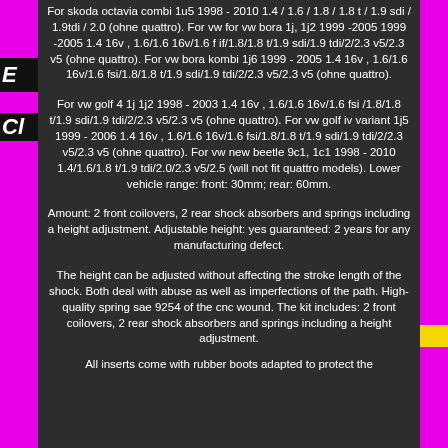For skoda octavia combi 1u5 1998 - 2010 1.4 / 1.6 / 1.8 / 1.8 t / 1.9 sdi / 1.9tdi / 2.0 (ohne quattro). For vw for vw bora 1j, 1j2 1999 -2005 1999 -2005 1.4 16v , 1.6/1.6 16v/1.6 f if/1.8/1.8 t/1.9 sdi/1.9 tdi/2/2.3 v5/2.3 v5 (ohne quattro). For vw bora kombi 1j6 1999 - 2005 1.4 16v , 1.6/1.6 16v/1.6 fsi/1.8/1.8 t/1.9 sdi/1.9 tdi/2/2.3 v5/2.3 v5 (ohne quattro).
For vw golf 4 1j 1j2 1998 - 2003 1.4 16v , 1.6/1.6 16v/1.6 fsi /1.8/1.8 t/1.9 sdi/1.9 tdi/2/2.3 v5/2.3 v5 (ohne quattro). For vw golf iv variant 1j5 1999 - 2006 1.4 16v , 1.6/1.6 16v/1.6 fsi/1.8/1.8 t/1.9 sdi/1.9 tdi/2/2.3 v5/2.3 v5 (ohne quattro). For vw new beetle 9c1, 1c1 1998 - 2010 1.4/1.6/1.8 t/1.9 tdi/2.0/2.3 v5/2.5 (will not fit quattro models). Lower vehicle range: front: 30mm; rear: 60mm.
Amount: 2 front coilovers, 2 rear shock absorbers and springs including a height adjustment. Adjustable height: yes guaranteed: 2 years for any manufacturing defect.
The height can be adjusted without affecting the stroke length of the shock. Both deal with abuse as well as imperfections of the path. High-quality spring sae 9254 of the cnc wound. The kit includes: 2 front coilovers, 2 rear shock absorbers and springs including a height adjustment.
All inserts come with rubber boots adapted to protect the